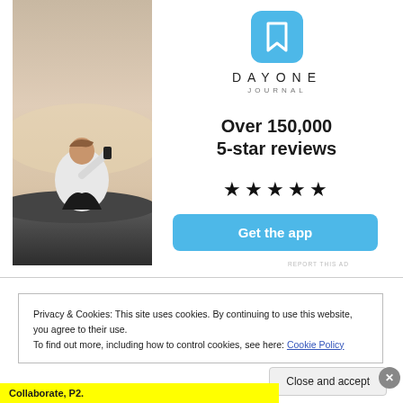[Figure (photo): Person sitting on rocks photographing sunset with smartphone, back view, white t-shirt]
[Figure (logo): Day One Journal app logo: blue rounded square with white bookmark icon, text DAYONE JOURNAL]
Over 150,000 5-star reviews
★★★★★
Get the app
REPORT THIS AD
Privacy & Cookies: This site uses cookies. By continuing to use this website, you agree to their use.
To find out more, including how to control cookies, see here: Cookie Policy
Close and accept
Collaborate, P2.